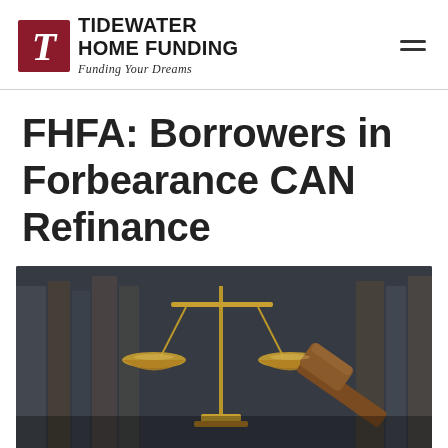Tidewater Home Funding — Funding Your Dreams
FHFA: Borrowers in Forbearance CAN Refinance
[Figure (photo): Photo of a golden balance scale of justice with a wooden gavel in the background, set against a blurred bookshelf background.]